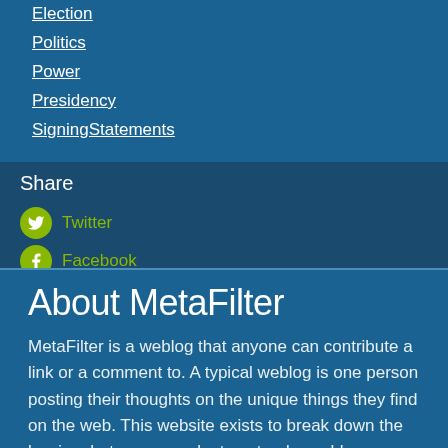Election
Politics
Power
Presidency
SigningStatements
Share
Twitter
Facebook
About MetaFilter
MetaFilter is a weblog that anyone can contribute a link or a comment to. A typical weblog is one person posting their thoughts on the unique things they find on the web. This website exists to break down the barriers between people, to extend a weblog beyond just one person, and to foster